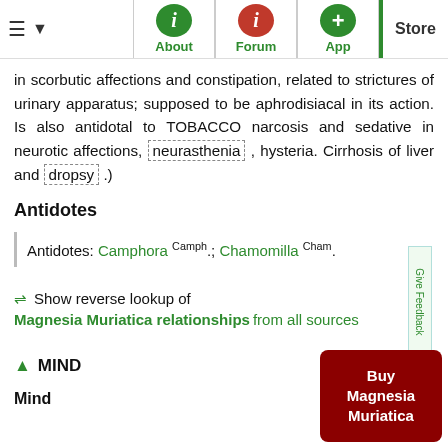Navigation bar with About, Forum, App, Store
in scorbutic affections and constipation, related to strictures of urinary apparatus; supposed to be aphrodisiacal in its action. Is also antidotal to TOBACCO narcosis and sedative in neurotic affections, neurasthenia , hysteria. Cirrhosis of liver and dropsy .)
Antidotes
Antidotes: Camphora Camph.; Chamomilla Cham.
⇌ Show reverse lookup of Magnesia Muriatica relationships from all sources
▲ MIND
Mind